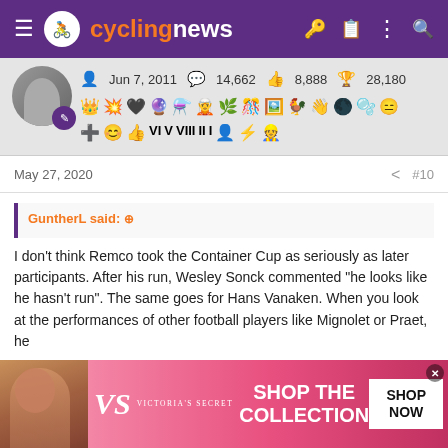cyclingnews
[Figure (screenshot): User profile section with avatar, join date Jun 7, 2011, message count 14,662, likes 8,888, trophy points 28,180, and rows of achievement badges]
May 27, 2020  #10
GuntherL said: ↗
I don't think Remco took the Container Cup as seriously as later participants. After his run, Wesley Sonck commented "he looks like he hasn't run". The same goes for Hans Vanaken. When you look at the performances of other football players like Mignolet or Praet, he
[Figure (photo): Victoria's Secret advertisement banner with model, VS logo, SHOP THE COLLECTION text, and SHOP NOW button]